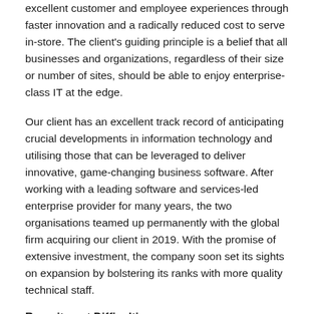excellent customer and employee experiences through faster innovation and a radically reduced cost to serve in-store. The client's guiding principle is a belief that all businesses and organizations, regardless of their size or number of sites, should be able to enjoy enterprise-class IT at the edge.
Our client has an excellent track record of anticipating crucial developments in information technology and utilising those that can be leveraged to deliver innovative, game-changing business software. After working with a leading software and services-led enterprise provider for many years, the two organisations teamed up permanently with the global firm acquiring our client in 2019. With the promise of extensive investment, the company soon set its sights on expansion by bolstering its ranks with more quality technical staff.
Recruitment Difficulties
When trying to recruit two shift-based Service Desk Engineers for Operations however, our client soon ran into